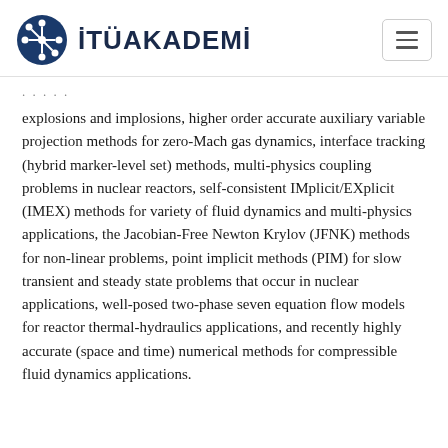İTÜAKADEMİ
explosions and implosions, higher order accurate auxiliary variable projection methods for zero-Mach gas dynamics, interface tracking (hybrid marker-level set) methods, multi-physics coupling problems in nuclear reactors, self-consistent IMplicit/EXplicit (IMEX) methods for variety of fluid dynamics and multi-physics applications, the Jacobian-Free Newton Krylov (JFNK) methods for non-linear problems, point implicit methods (PIM) for slow transient and steady state problems that occur in nuclear applications, well-posed two-phase seven equation flow models for reactor thermal-hydraulics applications, and recently highly accurate (space and time) numerical methods for compressible fluid dynamics applications.